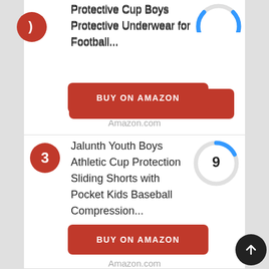Protective Cup Boys Protective Underwear for Football...
BUY ON AMAZON
Amazon.com
Jalunth Youth Boys Athletic Cup Protection Sliding Shorts with Pocket Kids Baseball Compression...
BUY ON AMAZON
Amazon.com